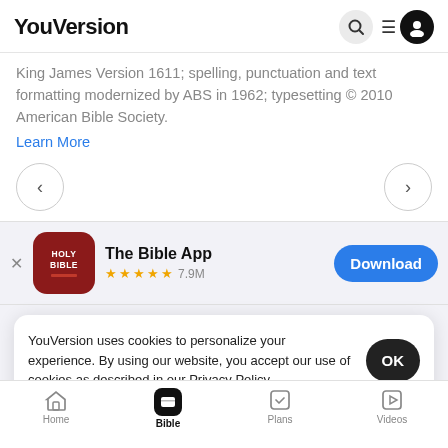YouVersion
King James Version 1611; spelling, punctuation and text formatting modernized by ABS in 1962; typesetting © 2010 American Bible Society.
Learn More
[Figure (screenshot): Navigation arrows left and right]
[Figure (screenshot): The Bible App download banner with Holy Bible icon, 5 stars, 7.9M rating, Download button]
YouVersion uses cookies to personalize your experience. By using our website, you accept our use of cookies as described in our Privacy Policy.
Home  Bible  Plans  Videos